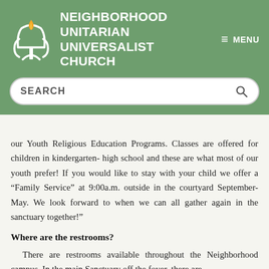[Figure (logo): Neighborhood Unitarian Universalist Church logo with flame and chalice symbol in white and gold on green background, with church name in white bold uppercase text and a hamburger menu icon labeled MENU]
[Figure (screenshot): Search bar with SEARCH label and magnifying glass icon on green background]
We offer childcare for infants, toddlers, and preschoolers in our Youth Religious Education Programs. Classes are offered for children in kindergarten- high school and these are what most of our youth prefer! If you would like to stay with your child we offer a “Family Service” at 9:00a.m. outside in the courtyard September- May. We look forward to when we can all gather again in the sanctuary together!”
Where are the restrooms?
There are restrooms available throughout the Neighborhood campus. In the main Sanctuary off the foyer, there are